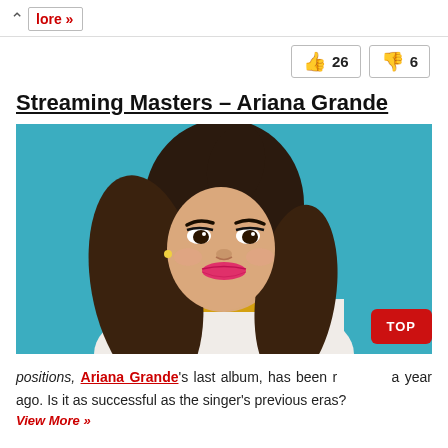↑  more »
👍 26  👎 6
Streaming Masters – Ariana Grande
[Figure (photo): Photo of Ariana Grande against a teal/turquoise background, long brunette hair, pink lipstick, gold necklace, wearing a white top, smiling at camera]
positions, Ariana Grande's last album, has been released a year ago. Is it as successful as the singer's previous eras?
View More »